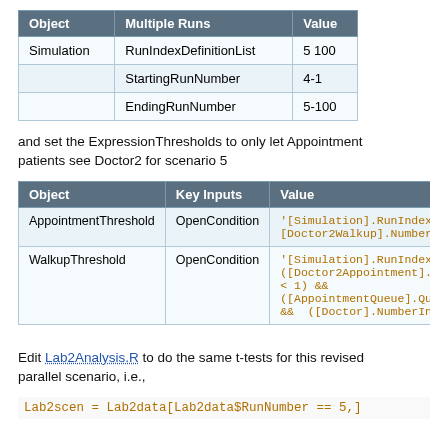| Object | Multiple Runs | Value |
| --- | --- | --- |
| Simulation | RunIndexDefinitionList | 5 100 |
|  | StartingRunNumber | 4-1 |
|  | EndingRunNumber | 5-100 |
and set the ExpressionThresholds to only let Appointment patients see Doctor2 for scenario 5
| Object | Key Inputs | Value |
| --- | --- | --- |
| AppointmentThreshold | OpenCondition | '[Simulation].RunIndex(… [Doctor2Walkup].NumberI… |
| WalkupThreshold | OpenCondition | '[Simulation].RunIndex(… ([Doctor2Appointment].N… < 1) && ([AppointmentQueue].Que… && ([Doctor].NumberInP… |
Edit Lab2Analysis.R to do the same t-tests for this revised parallel scenario, i.e.,